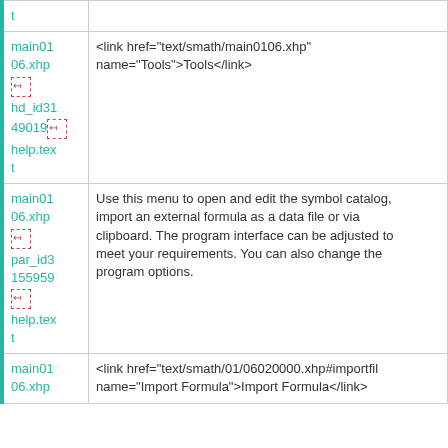| t |  |
| main01
06.xhp
[icon]
hd_id31
49019[icon]
help.text
t | <link href="text/smath/main0106.xhp"
name="Tools">Tools</link> |
| main01
06.xhp
[icon]
par_id3
155959
[icon]
help.text
t | Use this menu to open and edit the symbol catalog, import an external formula as a data file or via clipboard. The program interface can be adjusted to meet your requirements. You can also change the program options. |
| main01
06.xhp | <link href="text/smath/01/06020000.xhp#importfil
name="Import Formula">Import Formula</link> |